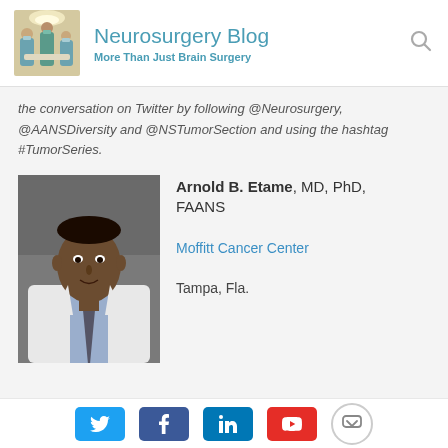Neurosurgery Blog — More Than Just Brain Surgery
the conversation on Twitter by following @Neurosurgery, @AANSDiversity and @NSTumorSection and using the hashtag #TumorSeries.
[Figure (photo): Headshot of Arnold B. Etame in a white medical coat]
Arnold B. Etame, MD, PhD, FAANS

Moffitt Cancer Center

Tampa, Fla.
Social sharing buttons: Twitter, Facebook, LinkedIn, YouTube, Pocket